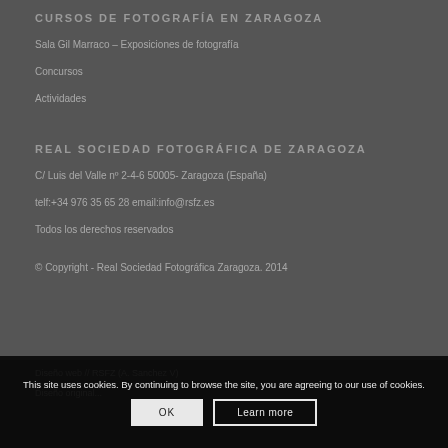CURSOS DE FOTOGRAFÍA EN ZARAGOZA
Sala Gil Marraco – Exposiciones de fotografía
Concursos
Actividades
REAL SOCIEDAD FOTOGRÁFICA DE ZARAGOZA
C/ Luis del Valle nº 2-4-6 50005- Zaragoza (España)
telf:+34 976 35 65 28 email:info@rsfz.es
Todos los derechos reservados
© Copyright - Real Sociedad Fotográfica Zaragoza. 2014
Diseño web // RSFZ (A. Sanchez V)
Diseño original...
This site uses cookies. By continuing to browse the site, you are agreeing to our use of cookies.